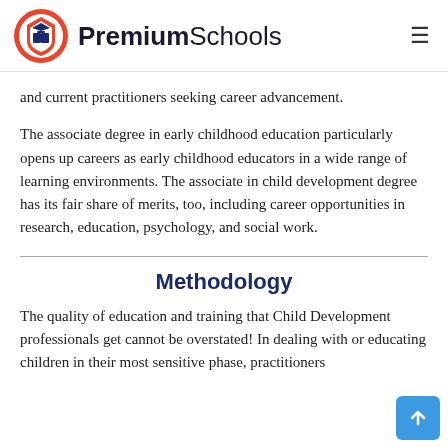PremiumSchools
and current practitioners seeking career advancement.
The associate degree in early childhood education particularly opens up careers as early childhood educators in a wide range of learning environments. The associate in child development degree has its fair share of merits, too, including career opportunities in research, education, psychology, and social work.
Methodology
The quality of education and training that Child Development professionals get cannot be overstated! In dealing with or educating children in their most sensitive phase, practitioners